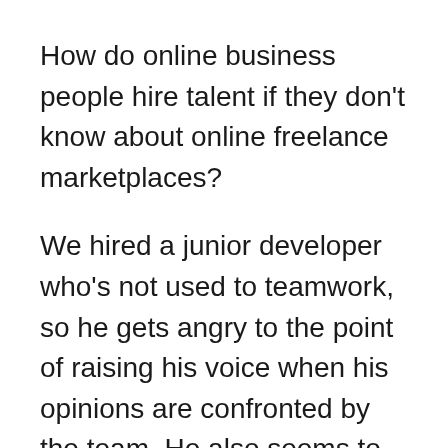How do online business people hire talent if they don't know about online freelance marketplaces?
We hired a junior developer who's not used to teamwork, so he gets angry to the point of raising his voice when his opinions are confronted by the team. He also seems to have a hard time listening to more experienced developers. What'd you do?